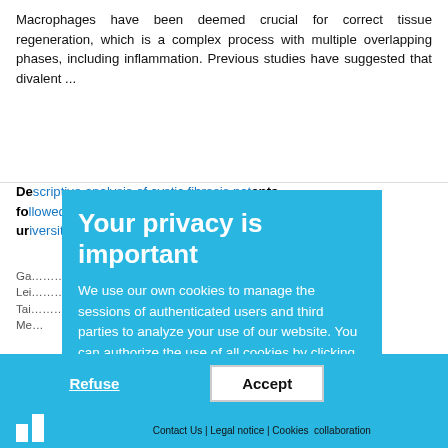Macrophages have been deemed crucial for correct tissue regeneration, which is a complex process with multiple overlapping phases, including inflammation. Previous studies have suggested that divalent ...
Descriptive analysis of cystic fibrosis patients followed in a Pneumonology Unit of a university hospital in Porto Alegre-RS
Authors including: Garrido; Tomedi; Leite; Pescura Paim; Tais; Bara (Scientia Medica); Air...
... followed in a long-term study; the collected data; relevant data for ...
More...
[Figure (screenshot): Cookie consent overlay popup on a blue (#29b6e0) background with white text heading 'Your privacy is important' and body text explaining cookie usage. Below are two buttons: 'Refuse' (underlined white text) and 'Accept' (white button with black text). A footer bar shows links: Contact Us | Legal notice | Cookies and 'collaboration' text.]